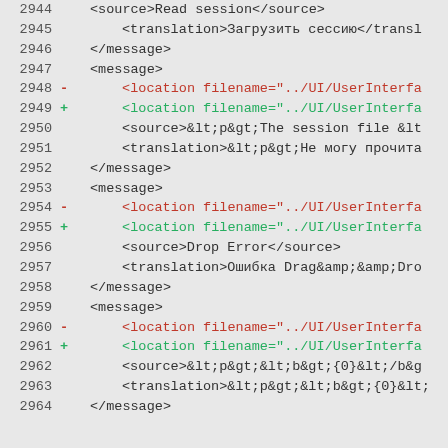2944  <source>Read session</source>
2945  <translation>Загрузить сессию</translation>
2946  </message>
2947  <message>
2948 -  <location filename="../UI/UserInterface...
2949 +  <location filename="../UI/UserInterface...
2950  <source>&lt;p&gt;The session file &lt;...
2951  <translation>&lt;p&gt;Не могу прочита...
2952  </message>
2953  <message>
2954 -  <location filename="../UI/UserInterface...
2955 +  <location filename="../UI/UserInterface...
2956  <source>Drop Error</source>
2957  <translation>Ошибка Drag&amp;&amp;Dro...
2958  </message>
2959  <message>
2960 -  <location filename="../UI/UserInterface...
2961 +  <location filename="../UI/UserInterface...
2962  <source>&lt;p&gt;&lt;b&gt;{0}&lt;/b&g...
2963  <translation>&lt;p&gt;&lt;b&gt;{0}&lt;...
2964  </message>